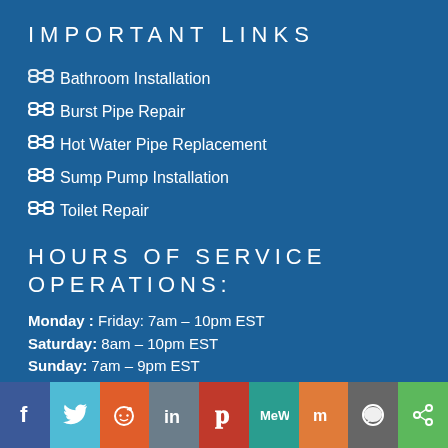IMPORTANT LINKS
Bathroom Installation
Burst Pipe Repair
Hot Water Pipe Replacement
Sump Pump Installation
Toilet Repair
HOURS OF SERVICE OPERATIONS:
Monday: Friday: 7am – 10pm EST
Saturday: 8am – 10pm EST
Sunday: 7am – 9pm EST
[Figure (infographic): Social media sharing bar with icons for Facebook, Twitter, Reddit, LinkedIn, Pinterest, MeWe, Mix, WhatsApp, and a share icon]